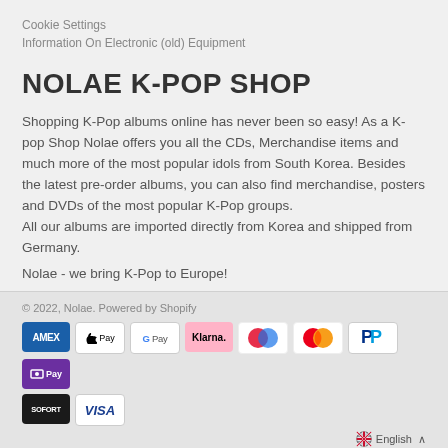Cookie Settings
Information On Electronic (old) Equipment
NOLAE K-POP SHOP
Shopping K-Pop albums online has never been so easy! As a K-pop Shop Nolae offers you all the CDs, Merchandise items and much more of the most popular idols from South Korea. Besides the latest pre-order albums, you can also find merchandise, posters and DVDs of the most popular K-Pop groups.
All our albums are imported directly from Korea and shipped from Germany.
Nolae - we bring K-Pop to Europe!
© 2022, Nolae. Powered by Shopify
[Figure (other): Payment method badges: AMEX, Apple Pay, Google Pay, Klarna, Maestro, Mastercard, PayPal, Shop Pay, Sofort, VISA]
English ∧